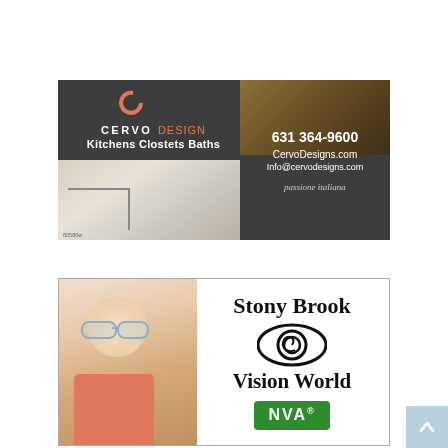[Figure (illustration): Cervo Design advertisement with dark background showing logo, brand name, kitchen photo, phone number 631 364-9600, website CervoDesigns.com, email Info@cervodesigns.com, and tagline 'passione italiana'. Code 80580w shown.]
[Figure (illustration): Stony Brook Vision World advertisement with photo of young boy wearing glasses, eye logo, brand name 'Stony Brook Vision World', and NVA badge in green.]